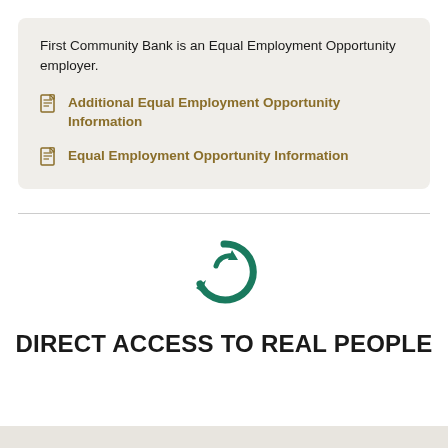First Community Bank is an Equal Employment Opportunity employer.
Additional Equal Employment Opportunity Information
Equal Employment Opportunity Information
[Figure (logo): First Community Bank circular refresh/cycle logo in teal green]
DIRECT ACCESS TO REAL PEOPLE